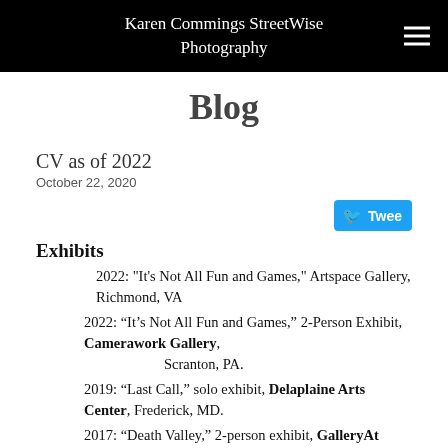Karen Commings StreetWise Photography
Blog
CV as of 2022
October 22, 2020
Exhibits
2022: "It's Not All Fun and Games," Artspace Gallery, Richmond, VA
2022: “It’s Not All Fun and Games,” 2-Person Exhibit, Camerawork Gallery, Scranton, PA.
2019: “Last Call,” solo exhibit, Delaplaine Arts Center, Frederick, MD.
2017: “Death Valley,” 2-person exhibit, GalleryAt Second, Harrisburg, PA